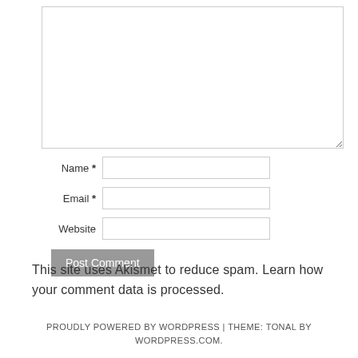[Figure (screenshot): Comment form with textarea, Name, Email, Website fields, and Post Comment button]
This site uses Akismet to reduce spam. Learn how your comment data is processed.
PROUDLY POWERED BY WORDPRESS | THEME: TONAL BY WORDPRESS.COM.